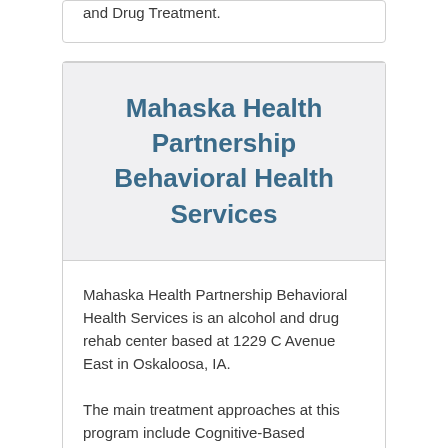and Drug Treatment.
Mahaska Health Partnership Behavioral Health Services
Mahaska Health Partnership Behavioral Health Services is an alcohol and drug rehab center based at 1229 C Avenue East in Oskaloosa, IA.
The main treatment approaches at this program include Cognitive-Based Therapy, Relapse Risk Reduction. The facility also offers its services in various environments, for instance Outpatient Drug Treatment